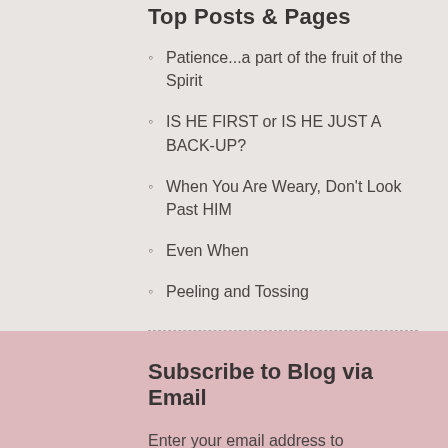Top Posts & Pages
Patience...a part of the fruit of the Spirit
IS HE FIRST or IS HE JUST A BACK-UP?
When You Are Weary, Don't Look Past HIM
Even When
Peeling and Tossing
Subscribe to Blog via Email
Enter your email address to